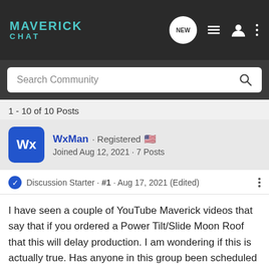MAVERICK CHAT
Search Community
1 - 10 of 10 Posts
WxMan · Registered 🇺🇸
Joined Aug 12, 2021 · 7 Posts
Discussion Starter · #1 · Aug 17, 2021 (Edited)
I have seen a couple of YouTube Maverick videos that say that if you ordered a Power Tilt/Slide Moon Roof that this will delay production. I am wondering if this is actually true. Has anyone in this group been scheduled for production that has a Maverick order that has a Tilt/Slide Moon Roof?